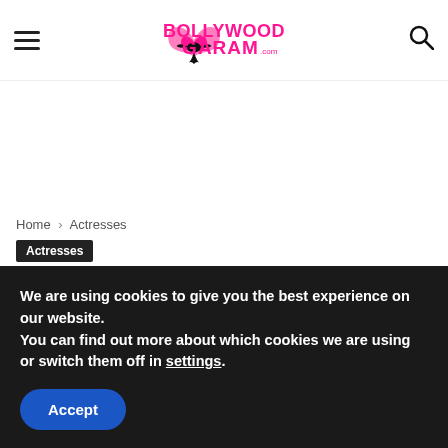Bollywood Garam
Home › Actresses
Actresses
Celina Jaitley shows off baby
We are using cookies to give you the best experience on our website.
You can find out more about which cookies we are using or switch them off in settings.
Accept